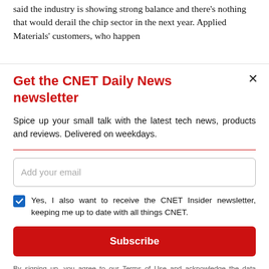said the industry is showing strong balance and there's nothing that would derail the chip sector in the next year. Applied Materials' customers, who happen to be the biggest companies in the chip world…
Get the CNET Daily News newsletter
Spice up your small talk with the latest tech news, products and reviews. Delivered on weekdays.
Add your email
Yes, I also want to receive the CNET Insider newsletter, keeping me up to date with all things CNET.
Subscribe
By signing up, you agree to our Terms of Use and acknowledge the data practices in our Privacy Policy. You may unsubscribe at any time.